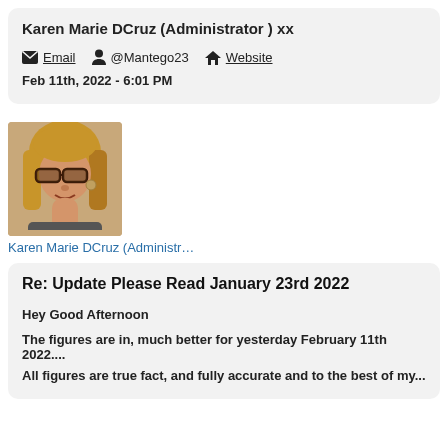Karen Marie DCruz (Administrator ) xx
Email  @Mantego23  Website
Feb 11th, 2022 - 6:01 PM
[Figure (photo): Profile photo of Karen Marie DCruz, a woman with glasses and blonde hair]
Karen Marie DCruz (Administr…
Re: Update Please Read January 23rd 2022
Hey Good Afternoon
The figures are in, much better for yesterday February 11th 2022....
All figures are true fact, and fully accurate and to the best of my...